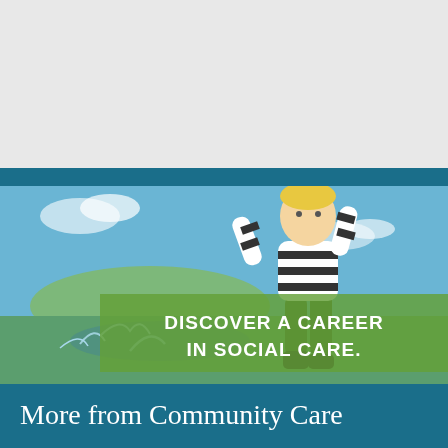[Figure (photo): A young toddler in a striped long-sleeve top and dark green trousers jumping and splashing in water outdoors, with a blue sky and green landscape in background. Overlaid with a semi-transparent green banner reading 'DISCOVER A CAREER IN SOCIAL CARE.' in bold white capital letters.]
More from Community Care